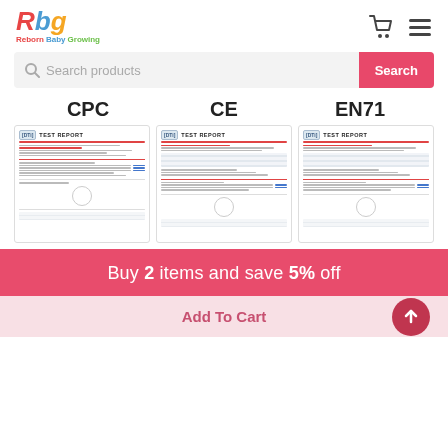[Figure (logo): Reborn Baby Growing logo with colorful RBG letters and subtitle text]
Search products
Search
CPC
CE
EN71
[Figure (photo): CPC Test Report document thumbnail showing DTI header]
[Figure (photo): CE Test Report document thumbnail showing DTI header]
[Figure (photo): EN71 Test Report document thumbnail showing DTI header]
Buy 2 items and save 5% off
Add To Cart